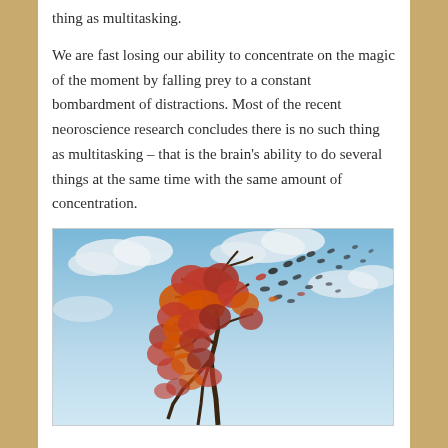thing as multitasking.

We are fast losing our ability to concentrate on the magic of the moment by falling prey to a constant bombardment of distractions. Most of the recent neoroscience research concludes there is no such thing as multitasking – that is the brain's ability to do several things at the same time with the same amount of concentration.
[Figure (illustration): An illustration of a human head silhouette formed by an autumn tree with red/orange leaves, with leaves and birds dispersing from the top right of the head against a cloudy blue sky background — symbolizing loss of concentration or mental fragmentation.]